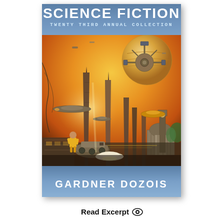[Figure (illustration): Book cover for 'Science Fiction: Twenty Third Annual Collection' edited by Gardner Dozois. The cover features a futuristic cityscape with towering alien/sci-fi architecture bathed in golden-orange light, flying spacecraft and vehicles of various designs, a large planet or moon visible in the sky, and a figure in the foreground wearing yellow clothing. The top band is blue-grey with the title 'Science Fiction' in large white letters, subtitle 'Twenty Third Annual Collection' in smaller white monospace text. The bottom band is blue-grey with 'Gardner Dozois' in large white letters.]
Read Excerpt 👁